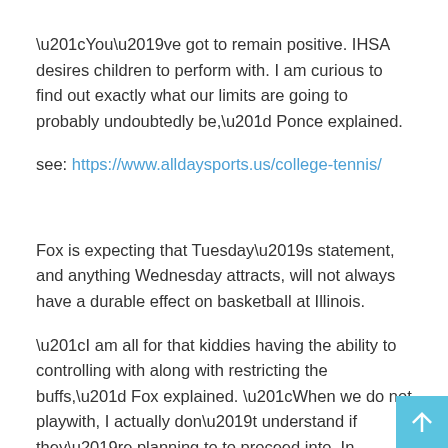“You’ve got to remain positive. IHSA desires children to perform with. I am curious to find out exactly what our limits are going to probably undoubtedly be,” Ponce explained.
see: https://www.alldaysports.us/college-tennis/
Fox is expecting that Tuesday’s statement, and anything Wednesday attracts, will not always have a durable effect on basketball at Illinois.
“I am all for that kiddies having the ability to controlling with along with restricting the buffs,” Fox explained. “When we do not playwith, I actually don’t understand if they’re planning to to proceed into. In addition, it really is definitely going to influence a great deal of apps. I presume, sooner or later, kiddies will